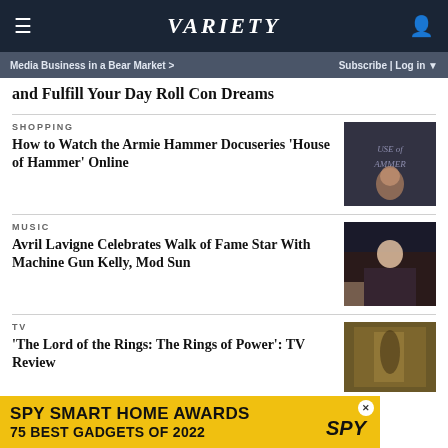≡  VARIETY  👤
Media Business in a Bear Market >   Subscribe | Log in ▼
and Fulfill Your Day Roll Con Dreams
SHOPPING
How to Watch the Armie Hammer Docuseries 'House of Hammer' Online
[Figure (photo): Armie Hammer at House of Hammer promotional event]
MUSIC
Avril Lavigne Celebrates Walk of Fame Star With Machine Gun Kelly, Mod Sun
[Figure (photo): Avril Lavigne at Walk of Fame ceremony]
TV
'The Lord of the Rings: The Rings of Power': TV Review
[Figure (photo): Scene from The Lord of the Rings: The Rings of Power]
[Figure (infographic): SPY SMART HOME AWARDS 75 BEST GADGETS OF 2022 advertisement banner]